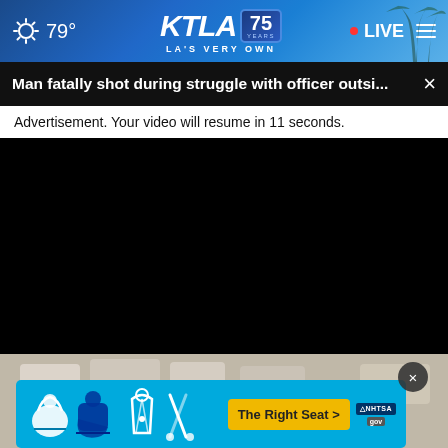KTLA 75 YEARS - LA'S VERY OWN | 79° | LIVE
Man fatally shot during struggle with officer outsi...
Advertisement. Your video will resume in 11 seconds.
[Figure (screenshot): Black video player area showing advertisement loading screen]
[Figure (screenshot): Below the video player, a partial aerial photo of cars/trucks is visible. An NHTSA car seat safety advertisement banner is overlaid in cyan/blue color showing child car seat icons and a yellow 'The Right Seat >' call-to-action button with NHTSA.gov branding. A dark circular close (X) button appears above the ad.]